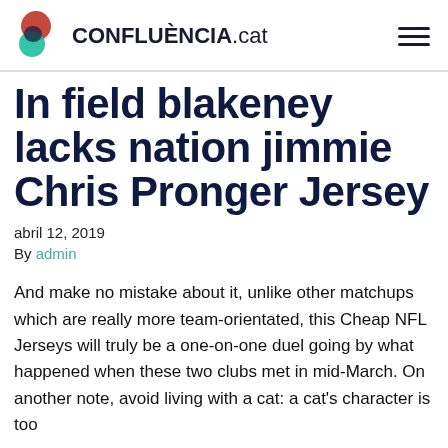CONFLUÈNCIA.cat
In field blakeney lacks nation jimmie Chris Pronger Jersey
abril 12, 2019
By admin
And make no mistake about it, unlike other matchups which are really more team-orientated, this Cheap NFL Jerseys will truly be a one-on-one duel going by what happened when these two clubs met in mid-March. On another note, avoid living with a cat: a cat's character is too